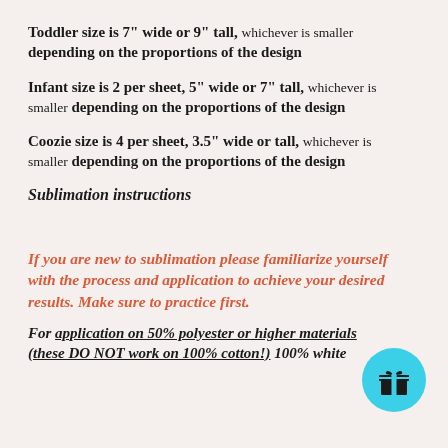Toddler size is 7" wide or 9" tall, whichever is smaller depending on the proportions of the design
Infant size is 2 per sheet, 5" wide or 7" tall, whichever is smaller depending on the proportions of the design
Coozie size is 4 per sheet, 3.5" wide or tall, whichever is smaller depending on the proportions of the design
Sublimation instructions
If you are new to sublimation please familiarize yourself with the process and application to achieve your desired results. Make sure to practice first.
For application on 50% polyester or higher materials (these DO NOT work on 100% cotton!) 100% white